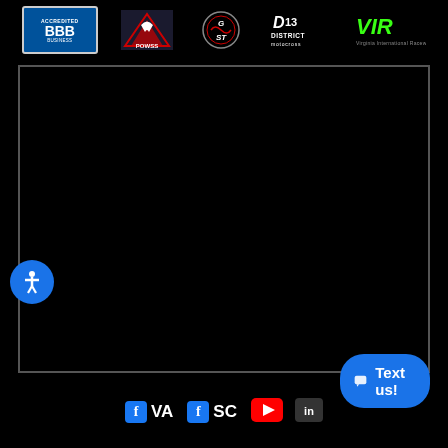[Figure (logo): BBB Accredited Business logo - blue background with BBB letters]
[Figure (logo): POWSS league logo - red and blue with eagle silhouette]
[Figure (logo): GT logo - circular speedometer style logo in black and red]
[Figure (logo): District 13 Motocross logo - white text on black]
[Figure (logo): VIR (Virginia International Raceway) logo - green text on black]
[Figure (photo): Black video/media player embed area with white border]
[Figure (illustration): Blue circular accessibility button with white person icon]
[Figure (logo): Facebook VA social media link]
[Figure (logo): Facebook SC social media link]
[Figure (logo): YouTube play button icon]
Text us!